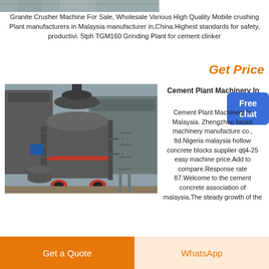[Figure (photo): Top strip showing industrial equipment/factory interior in grayscale]
Granite Crusher Machine For Sale, Wholesale Various High Quality Mobile crushing Plant manufacturers in Malaysia manufacturer in,China.Highest standards for safety, productivi. 5tph TGM160 Grinding Plant for cement clinker
Get Price
[Figure (photo): Industrial grinding mill machine (TGM160) outdoors, gray large cylindrical mill with ladders and auxiliary equipment]
Cement Plant Machinery In
[Figure (other): Free chat button in blue]
Cement Plant Machinery In Malaysia. Zhengzhou lianke machinery manufacture co., ltd.Nigeria malaysia hollow concrete blocks supplier qtj4-25 easy machine price.Add to compare.Response rate 87.Welcome to the cement concrete association of malaysia.The steady growth of the
Get a Quote
WhatsApp